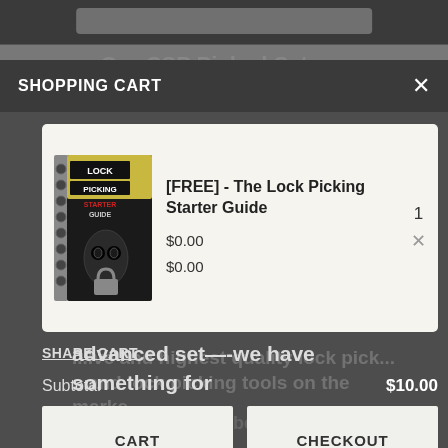SHOPPING CART
[Figure (screenshot): Shopping cart modal overlay showing a free book item '[FREE] - The Lock Picking Starter Guide' priced at $0.00, quantity 1, with Share Cart link, Subtotal $10.00, CART and CHECKOUT buttons, and CONTINUE SHOPPING link. Background shows blurred website text about Art of Lock Picking.]
[FREE] - The Lock Picking Starter Guide
$0.00
$0.00
SHARE CART
Subtotal $10.00
CART
CHECKOUT
CONTINUE SHOPPING
professional locksmith looking for a mo advanced set—-we have something for everyone!